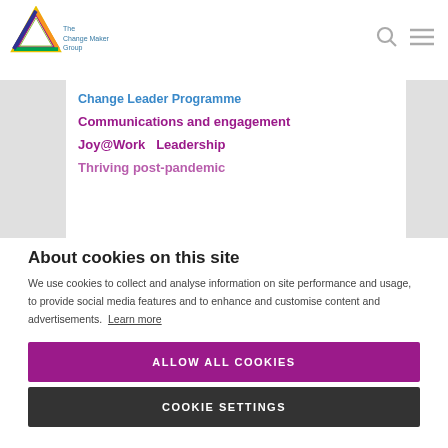[Figure (logo): The Change Maker Group logo with rainbow-colored triangle and blue text]
Change Leader Programme
Communications and engagement
Joy@Work  Leadership
Thriving post-pandemic
About cookies on this site
We use cookies to collect and analyse information on site performance and usage, to provide social media features and to enhance and customise content and advertisements. Learn more
ALLOW ALL COOKIES
COOKIE SETTINGS